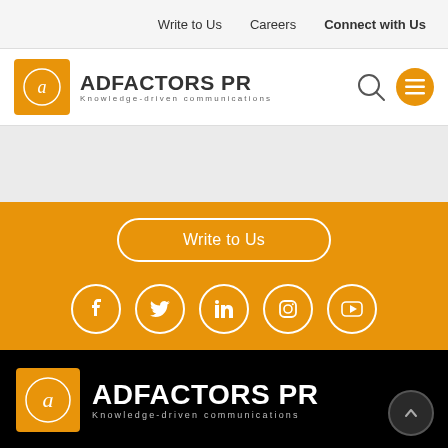Write to Us   Careers   Connect with Us
[Figure (logo): Adfactors PR logo with orange square icon, company name and tagline 'Knowledge-driven communications', search icon and orange menu hamburger button]
[Figure (infographic): Orange section with 'Write to Us' rounded button and five social media icons: Facebook, Twitter, LinkedIn, Instagram, YouTube]
[Figure (logo): Black footer with Adfactors PR logo in white text on black background with orange square icon, tagline 'Knowledge-driven communications', and back-to-top arrow button]